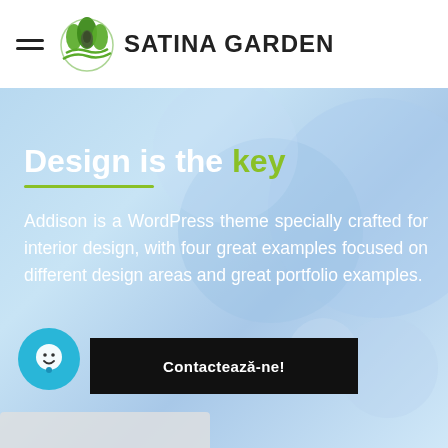[Figure (logo): Satina Garden logo with tree/leaf icon and hamburger menu]
[Figure (screenshot): Hero section with blue gradient background, decorative circles, title 'Design is the key', descriptive text, chat widget, and CTA button 'Contactează-ne!']
Design is the key
Addison is a WordPress theme specially crafted for interior design, with four great examples focused on different design areas and great portfolio examples.
Contactează-ne!